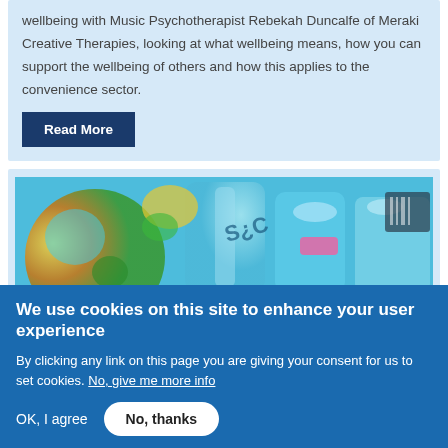wellbeing with Music Psychotherapist Rebekah Duncalfe of Meraki Creative Therapies, looking at what wellbeing means, how you can support the wellbeing of others and how this applies to the convenience sector.
Read More
[Figure (photo): Colorful photo of assorted candy/sweets and bottles in blue tones]
We use cookies on this site to enhance your user experience
By clicking any link on this page you are giving your consent for us to set cookies. No, give me more info
OK, I agree
No, thanks